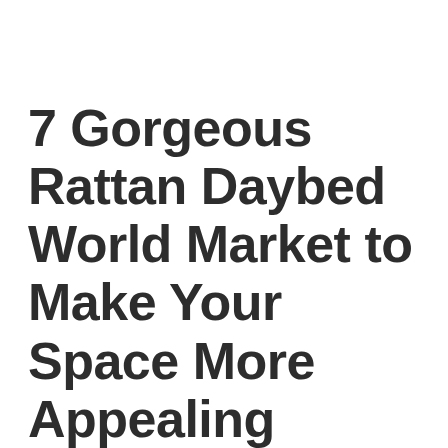7 Gorgeous Rattan Daybed World Market to Make Your Space More Appealing